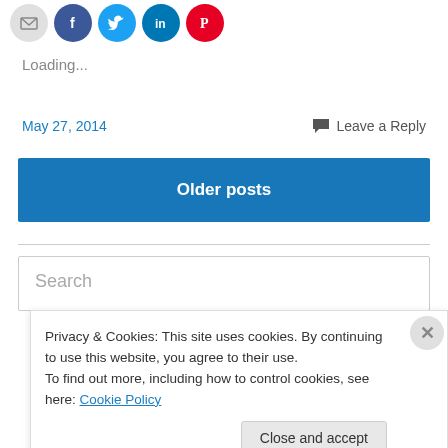[Figure (illustration): Row of social share icon buttons: email (grey), Facebook (blue), Twitter (light blue), LinkedIn (dark blue), Pinterest (red)]
Loading...
May 27, 2014
Leave a Reply
Older posts
Search
Privacy & Cookies: This site uses cookies. By continuing to use this website, you agree to their use.
To find out more, including how to control cookies, see here: Cookie Policy
Close and accept